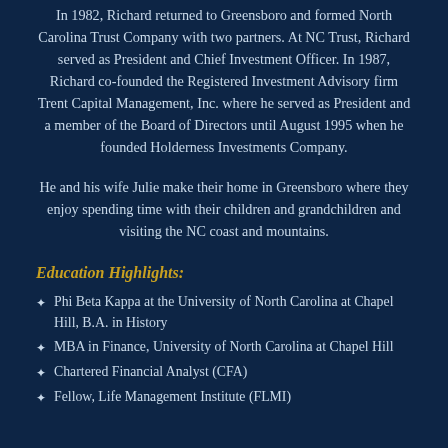In 1982, Richard returned to Greensboro and formed North Carolina Trust Company with two partners. At NC Trust, Richard served as President and Chief Investment Officer. In 1987, Richard co-founded the Registered Investment Advisory firm Trent Capital Management, Inc. where he served as President and a member of the Board of Directors until August 1995 when he founded Holderness Investments Company.
He and his wife Julie make their home in Greensboro where they enjoy spending time with their children and grandchildren and visiting the NC coast and mountains.
Education Highlights:
Phi Beta Kappa at the University of North Carolina at Chapel Hill, B.A. in History
MBA in Finance, University of North Carolina at Chapel Hill
Chartered Financial Analyst (CFA)
Fellow, Life Management Institute (FLMI)